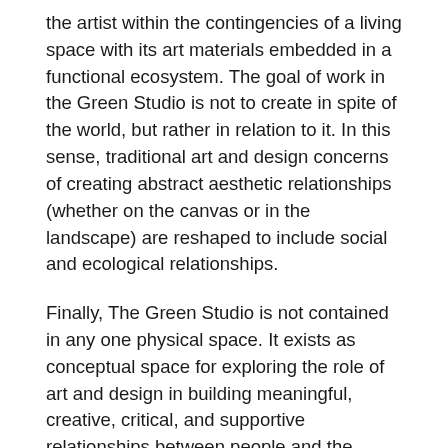the artist within the contingencies of a living space with its art materials embedded in a functional ecosystem. The goal of work in the Green Studio is not to create in spite of the world, but rather in relation to it. In this sense, traditional art and design concerns of creating abstract aesthetic relationships (whether on the canvas or in the landscape) are reshaped to include social and ecological relationships.
Finally, The Green Studio is not contained in any one physical space. It exists as conceptual space for exploring the role of art and design in building meaningful, creative, critical, and supportive relationships between people and the earth's life support systems. The Green Studio can materialize anywhere and anytime an artistic act forms a conscious relationship with an ecological process, and renders the opposing concepts of "nature" and "culture" as inadequate terms for creating a